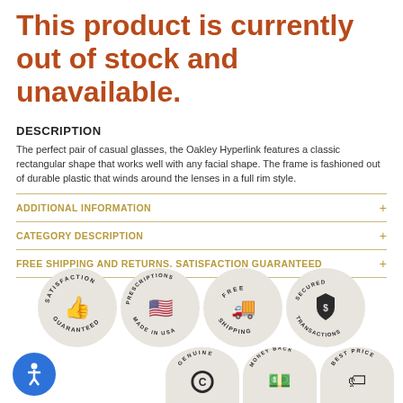This product is currently out of stock and unavailable.
DESCRIPTION
The perfect pair of casual glasses, the Oakley Hyperlink features a classic rectangular shape that works well with any facial shape. The frame is fashioned out of durable plastic that winds around the lenses in a full rim style.
ADDITIONAL INFORMATION +
CATEGORY DESCRIPTION +
FREE SHIPPING AND RETURNS. SATISFACTION GUARANTEED +
[Figure (infographic): Four circular trust badges: Satisfaction Guaranteed (thumbs up), Prescriptions Made in USA (US map), Free Shipping (delivery van), Secured Transactions (shield with dollar sign)]
[Figure (infographic): Three circular trust badges partially visible: Genuine (copyright symbol), Money Back (cash with arrow), Best Price (tag icon). Also accessibility button (blue circle with person icon).]